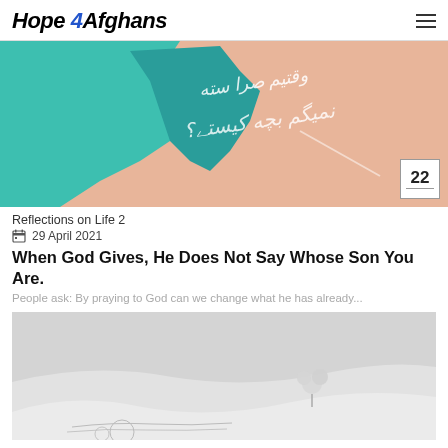Hope 4 Afghans
[Figure (illustration): Decorative image with teal and peach colors, showing a stylized map shape with Urdu/Pashto script text and the number 22 in a box badge in the bottom right corner.]
Reflections on Life 2
29 April 2021
When God Gives, He Does Not Say Whose Son You Are.
People ask: By praying to God can we change what he has already...
[Figure (photo): Black and white winter/snow landscape photo showing snow dunes with a small plant or flower covered in snow and some tracks in the snow.]